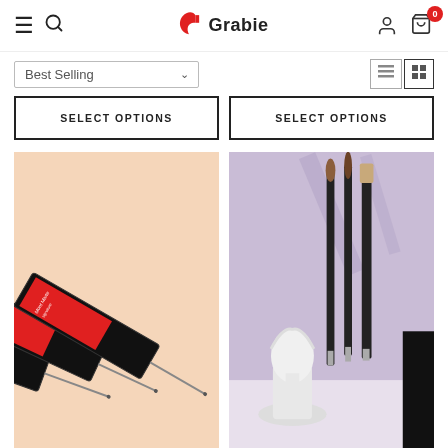Grabie — navigation header with hamburger menu, search, logo, user icon, cart (0)
Best Selling
SELECT OPTIONS
SELECT OPTIONS
[Figure (photo): Art painting needles/compasses in red packaging on peach background]
[Figure (photo): Three paint brushes with black handles and a white plaster sculpture bust on lavender background, with a dark GET 10% OFF>> banner]